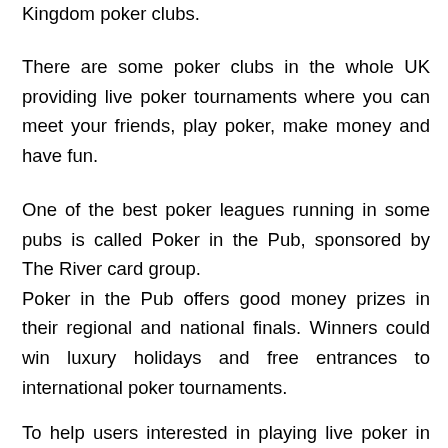Kingdom poker clubs.
There are some poker clubs in the whole UK providing live poker tournaments where you can meet your friends, play poker, make money and have fun.
One of the best poker leagues running in some pubs is called Poker in the Pub, sponsored by The River card group.
Poker in the Pub offers good money prizes in their regional and national finals. Winners could win luxury holidays and free entrances to international poker tournaments.
To help users interested in playing live poker in UK